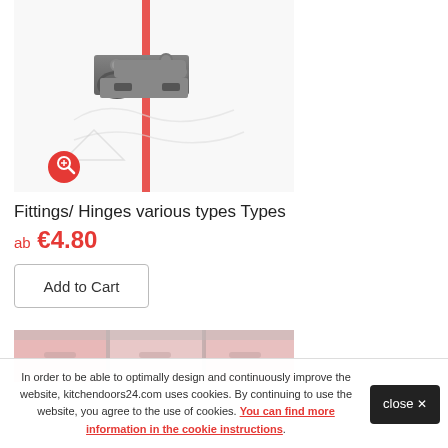[Figure (photo): Close-up photo of a metal cabinet hinge/fitting on a white door panel with a red stripe]
Fittings/ Hinges various types Types
ab €4.80
Add to Cart
[Figure (photo): Partial photo of pink/salmon colored kitchen cabinet doors]
In order to be able to optimally design and continuously improve the website, kitchendoors24.com uses cookies. By continuing to use the website, you agree to the use of cookies. You can find more information in the cookie instructions.